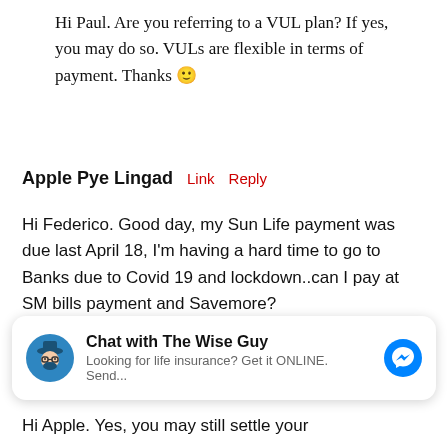Hi Paul. Are you referring to a VUL plan? If yes, you may do so. VULs are flexible in terms of payment. Thanks 🙂
Apple Pye Lingad   Link   Reply
Hi Federico. Good day, my Sun Life payment was due last April 18, I'm having a hard time to go to Banks due to Covid 19 and lockdown..can I pay at SM bills payment and Savemore?
[Figure (screenshot): Chat widget: 'Chat with The Wise Guy — Looking for life insurance? Get it ONLINE. Send...' with avatar and Messenger icon]
Hi Apple. Yes, you may still settle your